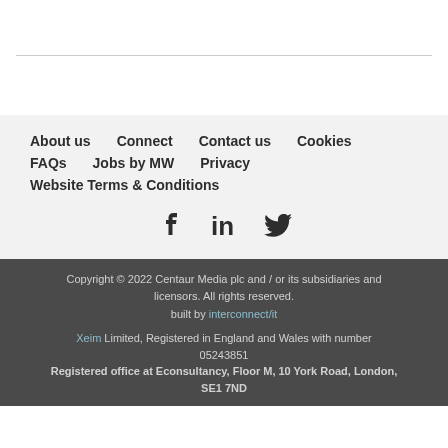About us   Connect   Contact us   Cookies   FAQs   Jobs by MW   Privacy   Website Terms & Conditions
Copyright © 2022 Centaur Media plc and / or its subsidiaries and licensors. All rights reserved. built by interconnect/it  Xeim Limited, Registered in England and Wales with number 05243851 Registered office at Econsultancy, Floor M, 10 York Road, London, SE1 7ND